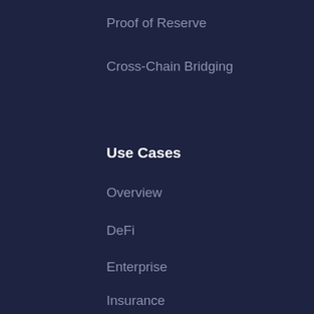Proof of Reserve
Cross-Chain Bridging
Use Cases
Overview
DeFi
Enterprise
Insurance
NFT and Gaming
Social Impact